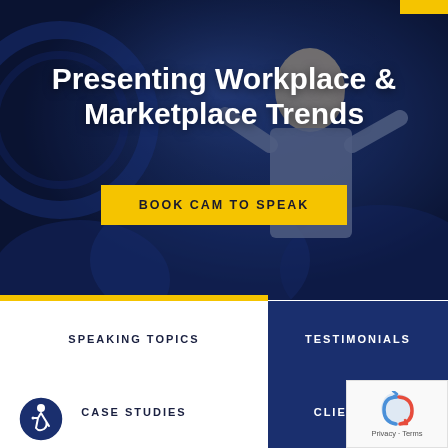[Figure (photo): A man in a grey blazer presenting on stage with dramatic blue lighting and decorative backdrop]
Presenting Workplace & Marketplace Trends
BOOK CAM TO SPEAK
SPEAKING TOPICS
TESTIMONIALS
CASE STUDIES
CLIENT LIST
[Figure (illustration): Accessibility icon — wheelchair user symbol in a blue circle]
[Figure (logo): Google reCAPTCHA logo with Privacy and Terms text]